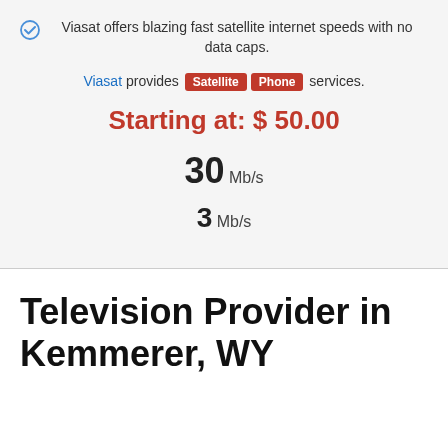Viasat offers blazing fast satellite internet speeds with no data caps.
Viasat provides Satellite Phone services.
Starting at: $ 50.00
30 Mb/s
3 Mb/s
Television Provider in Kemmerer, WY